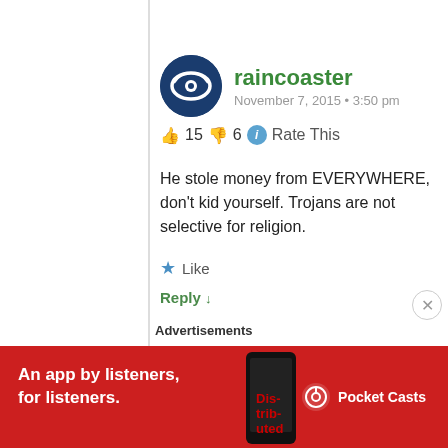raincoaster
November 7, 2015 • 3:50 pm
👍 15 👎 6 ℹ Rate This
He stole money from EVERYWHERE, don't kid yourself. Trojans are not selective for religion.
★ Like
Reply ↓
Code
February 25, 2016 • 10:16 am
👍 0 👎 0 ℹ Rate This
👍👍😂😂
Advertisements
[Figure (infographic): Red advertisement banner for Pocket Casts: 'An app by listeners, for listeners.' with phone image and Pocket Casts logo]